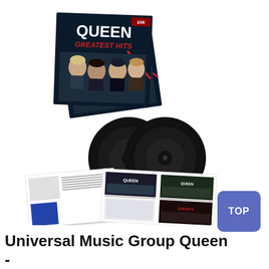[Figure (photo): Product photo of Queen Greatest Hits double vinyl LP set, showing the album cover with the band's name and 'Greatest Hits' text, two black vinyl records, and an open booklet/gatefold insert with smaller album cover images and text.]
TOP
Universal Music Group Queen -